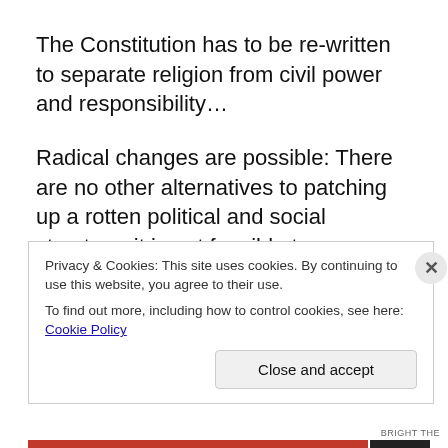The Constitution has to be re-written to separate religion from civil power and responsibility…
Radical changes are possible: There are no other alternatives to patching up a rotten political and social structure; it is not feasible to move on with small incremental reforms under the power of the ferocious religious and financial oligarchies that have been
Privacy & Cookies: This site uses cookies. By continuing to use this website, you agree to their use.
To find out more, including how to control cookies, see here: Cookie Policy